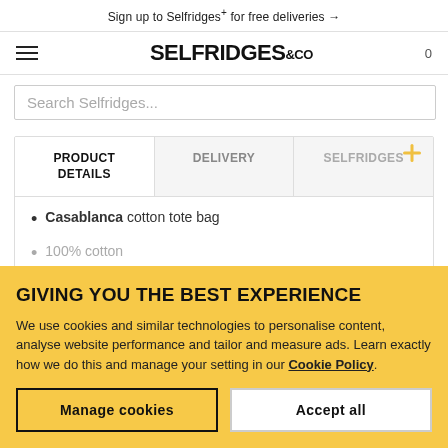Sign up to Selfridges+ for free deliveries →
[Figure (logo): Selfridges & Co logo with hamburger menu and cart count 0]
Search Selfridges...
| PRODUCT DETAILS | DELIVERY | SELFRIDGES+ |
| --- | --- | --- |
Casablanca cotton tote bag
100% cotton
GIVING YOU THE BEST EXPERIENCE
We use cookies and similar technologies to personalise content, analyse website performance and tailor and measure ads. Learn exactly how we do this and manage your setting in our Cookie Policy.
Manage cookies | Accept all